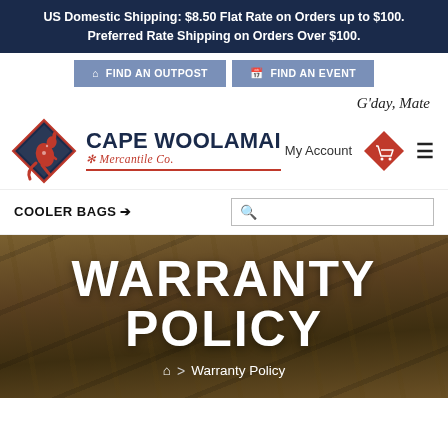US Domestic Shipping: $8.50 Flat Rate on Orders up to $100. Preferred Rate Shipping on Orders Over $100.
FIND AN OUTPOST   FIND AN EVENT
G'day, Mate
[Figure (logo): Cape Woolamai Mercantile Co. logo with diamond-shaped kangaroo emblem and brand name]
My Account
COOLER BAGS
WARRANTY POLICY
🏠 > Warranty Policy